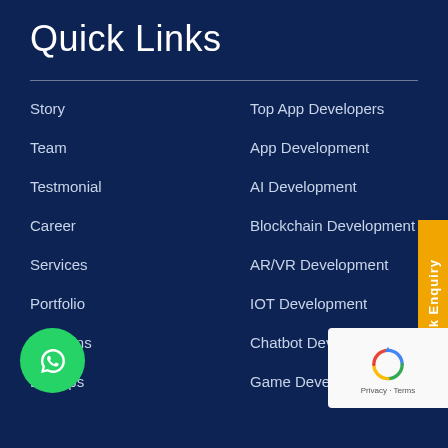Quick Links
Story
Team
Testmonial
Career
Services
Portfolio
Solutions
DevOps
Top App Developers
App Development
AI Development
Blockchain Development
AR/VR Development
IOT Development
Chatbot Development
Game Development
[Figure (other): WhatsApp chat button - green circle with phone handset icon]
[Figure (other): reCAPTCHA widget with Google logo and Privacy/Terms links]
Quick Enquiry